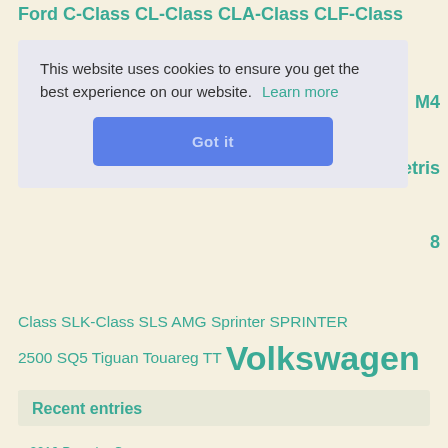Ford C-Class CL-Class CLA-Class CLF-Class
This website uses cookies to ensure you get the best experience on our website. Learn more
Got it
M4
etris
8
Class SLK-Class SLS AMG Sprinter SPRINTER 2500 SQ5 Tiguan Touareg TT Volkswagen X1 X3 X5 X6 Z4
Recent entries
2016 Porsche Cayman
2016 Volkswagen Golf R (White/Black)
2021 BMW 2-Series (Black/White)
2015 BMW 3-Series (Blue/Tan)
2019 Audi A6